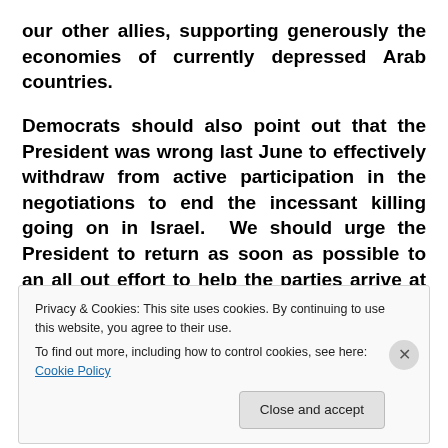our other allies, supporting generously the economies of currently depressed Arab countries.
Democrats should also point out that the President was wrong last June to effectively withdraw from active participation in the negotiations to end the incessant killing going on in Israel. We should urge the President to return as soon as possible to an all out effort to help the parties arrive at some kind of temporary cease fire, at least.
However, we should be aware that we will need to...
Privacy & Cookies: This site uses cookies. By continuing to use this website, you agree to their use.
To find out more, including how to control cookies, see here: Cookie Policy
Close and accept